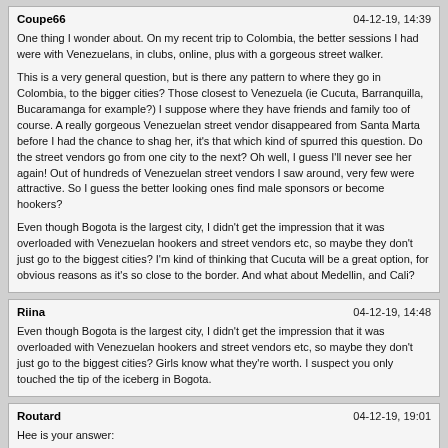Coupe66 — 04-12-19, 14:39
One thing I wonder about. On my recent trip to Colombia, the better sessions I had were with Venezuelans, in clubs, online, plus with a gorgeous street walker.

This is a very general question, but is there any pattern to where they go in Colombia, to the bigger cities? Those closest to Venezuela (ie Cucuta, Barranquilla, Bucaramanga for example?) I suppose where they have friends and family too of course. A really gorgeous Venezuelan street vendor disappeared from Santa Marta before I had the chance to shag her, it's that which kind of spurred this question. Do the street vendors go from one city to the next? Oh well, I guess I'll never see her again! Out of hundreds of Venezuelan street vendors I saw around, very few were attractive. So I guess the better looking ones find male sponsors or become hookers?

Even though Bogota is the largest city, I didn't get the impression that it was overloaded with Venezuelan hookers and street vendors etc, so maybe they don't just go to the biggest cities? I'm kind of thinking that Cucuta will be a great option, for obvious reasons as it's so close to the border. And what about Medellin, and Cali?
Riina — 04-12-19, 14:48
Even though Bogota is the largest city, I didn't get the impression that it was overloaded with Venezuelan hookers and street vendors etc, so maybe they don't just go to the biggest cities? Girls know what they're worth. I suspect you only touched the tip of the iceberg in Bogota.
Routard — 04-12-19, 19:01
Hee is your answer:
https://www.eltiempo.com/colombia/otras-ciudades/ubicacion-de-los-migrantes-